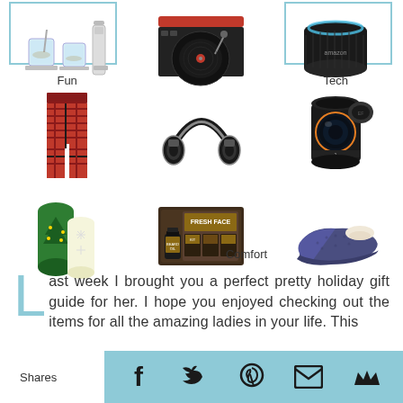[Figure (photo): Product grid showing holiday gift items: row 1 - whiskey glasses/bar set (Fun), record player, Amazon Echo (Tech); row 2 - plaid pajama pants, over-ear headphones, camera lens mug; row 3 - Christmas wrapping, beard care grooming kit set (Comfort), slippers]
Fun
Tech
Comfort
Last week I brought you a perfect pretty holiday gift guide for her. I hope you enjoyed checking out the items for all the amazing ladies in your life. This
Shares